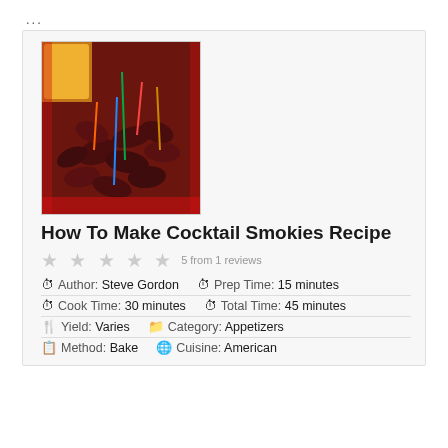...
[Figure (photo): Photo of cocktail smokies with colorful toothpicks in a red tray, with orange fruit on the side]
How To Make Cocktail Smokies Recipe
★ ★ ★ ★ ★  5 from 1 reviews
Author: Steve Gordon   Prep Time: 15 minutes
Cook Time: 30 minutes   Total Time: 45 minutes
Yield: Varies   Category: Appetizers
Method: Bake   Cuisine: American